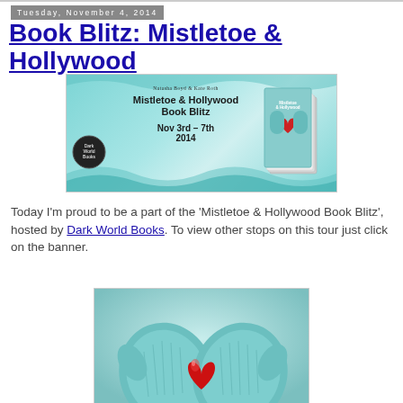Tuesday, November 4, 2014
Book Blitz: Mistletoe & Hollywood
[Figure (illustration): Book blitz banner for Mistletoe & Hollywood by Natasha Boyd & Kate Roth, featuring teal/aqua wave design, book cover image showing mittened hands holding a red heart, publisher logo, dates Nov 3rd-7th 2014]
Today I'm proud to be a part of the 'Mistletoe & Hollywood Book Blitz', hosted by Dark World Books. To view other stops on this tour just click on the banner.
[Figure (photo): Close-up photo of teal/turquoise knitted mittens holding a shiny red heart shape]